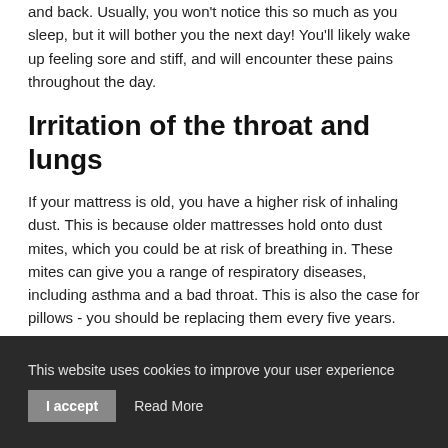and back. Usually, you won't notice this so much as you sleep, but it will bother you the next day! You'll likely wake up feeling sore and stiff, and will encounter these pains throughout the day.
Irritation of the throat and lungs
If your mattress is old, you have a higher risk of inhaling dust. This is because older mattresses hold onto dust mites, which you could be at risk of breathing in. These mites can give you a range of respiratory diseases, including asthma and a bad throat. This is also the case for pillows - you should be replacing them every five years.
Don't sacrifice a good night's sleep for a cheap mattress deal
This website uses cookies to improve your user experience | I accept | Read More